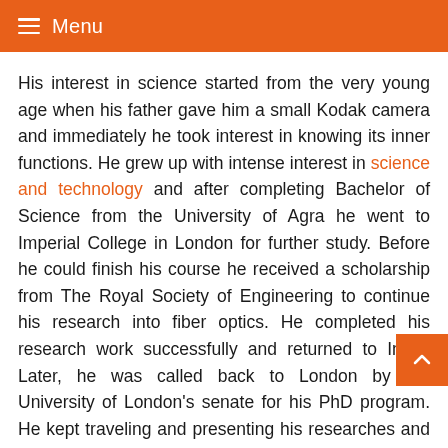Menu
His interest in science started from the very young age when his father gave him a small Kodak camera and immediately he took interest in knowing its inner functions. He grew up with intense interest in science and technology and after completing Bachelor of Science from the University of Agra he went to Imperial College in London for further study. Before he could finish his course he received a scholarship from The Royal Society of Engineering to continue his research into fiber optics. He completed his research work successfully and returned to India. Later, he was called back to London by the University of London's senate for his PhD program. He kept traveling and presenting his researches and became the professor at the University of Rochester, United States where he finally stayed. He has also been teaching at the Illinois Institute of Technology
In 1960 he founded 'Optics Technology Inc' where he was the Chairman of the Board, President and Director of Research for